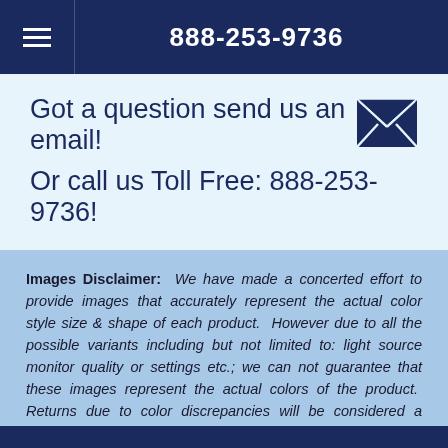888-253-9736
Got a question send us an email!
Or call us Toll Free: 888-253-9736!
Images Disclaimer: We have made a concerted effort to provide images that accurately represent the actual color style size & shape of each product. However due to all the possible variants including but not limited to: light source monitor quality or settings etc.; we can not guarantee that these images represent the actual colors of the product. Returns due to color discrepancies will be considered a return of a non-defective item as detailed in our "Legal / Return Policies" link in footer below.